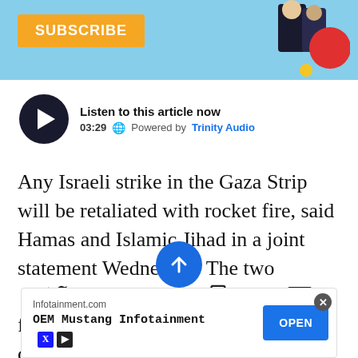[Figure (screenshot): Top banner with light blue background, orange SUBSCRIBE button on left, decorative illustration of people and red/yellow circles on right]
[Figure (screenshot): Audio player widget: dark circular play button, text 'Listen to this article now', timestamp 03:29, globe icon, 'Powered by Trinity Audio']
Any Israeli strike in the Gaza Strip will be retaliated with rocket fire, said Hamas and Islamic Jihad in a joint statement Wednesday. The two organizations claimed responsibility for the 45 rockets fired at Gaza border communities Tuesday night, claiming they
[Figure (screenshot): Bottom toolbar with social sharing icons: Twitter bird, Facebook f, blue circular logo button in center, bookmark icon, mail/envelope icon]
[Figure (screenshot): Advertisement banner: Infotainment.com, OEM Mustang Infotainment, OPEN button, close X button, X and play icons at bottom left]